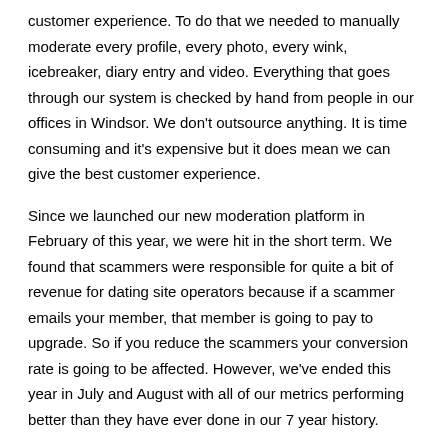customer experience. To do that we needed to manually moderate every profile, every photo, every wink, icebreaker, diary entry and video. Everything that goes through our system is checked by hand from people in our offices in Windsor. We don't outsource anything. It is time consuming and it's expensive but it does mean we can give the best customer experience.
Since we launched our new moderation platform in February of this year, we were hit in the short term. We found that scammers were responsible for quite a bit of revenue for dating site operators because if a scammer emails your member, that member is going to pay to upgrade. So if you reduce the scammers your conversion rate is going to be affected. However, we've ended this year in July and August with all of our metrics performing better than they have ever done in our 7 year history.
In an article recently you said there are some unethical practices in the internet dating world that need stamping out. Tell us more, what are they?